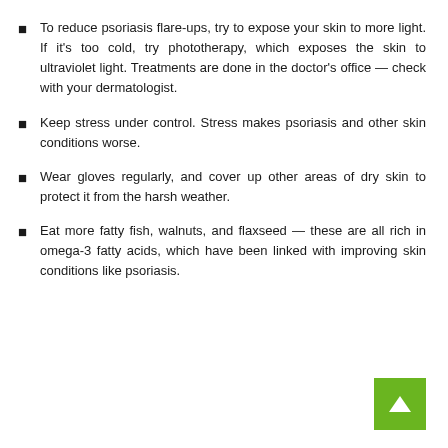To reduce psoriasis flare-ups, try to expose your skin to more light. If it's too cold, try phototherapy, which exposes the skin to ultraviolet light. Treatments are done in the doctor's office — check with your dermatologist.
Keep stress under control. Stress makes psoriasis and other skin conditions worse.
Wear gloves regularly, and cover up other areas of dry skin to protect it from the harsh weather.
Eat more fatty fish, walnuts, and flaxseed — these are all rich in omega-3 fatty acids, which have been linked with improving skin conditions like psoriasis.